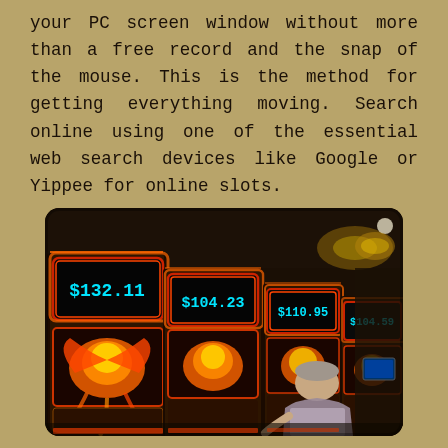your PC screen window without more than a free record and the snap of the mouse. This is the method for getting everything moving. Search online using one of the essential web search devices like Google or Yippee for online slots.
[Figure (photo): A row of casino slot machines displaying jackpot amounts ($132.11, $104.23, $110.95, $104.59) with a phoenix/fire bird theme, with a person sitting at the machines and casino interior visible in the background.]